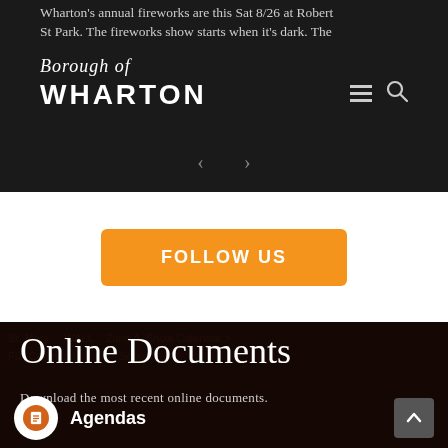Wharton's annual fireworks are this Sat 8/26 at Robert St Park. The fireworks show starts when it's dark. The
[Figure (logo): Borough of Wharton logo with script 'Borough of' above bold 'WHARTON' text on dark background, with hamburger menu and search icons to the right]
FOLLOW US
Online Documents
Download the most recent online documents.
Agendas